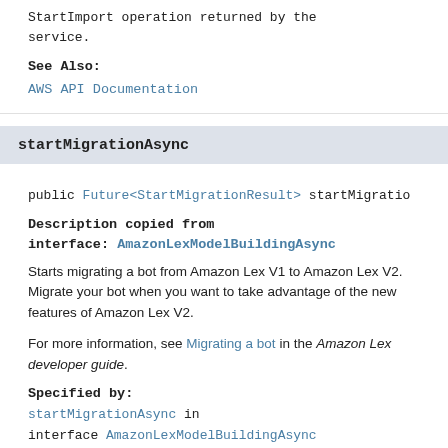StartImport operation returned by the service.
See Also:
AWS API Documentation
startMigrationAsync
public Future<StartMigrationResult> startMigratio...
Description copied from interface: AmazonLexModelBuildingAsync
Starts migrating a bot from Amazon Lex V1 to Amazon Lex V2. Migrate your bot when you want to take advantage of the new features of Amazon Lex V2.
For more information, see Migrating a bot in the Amazon Lex developer guide.
Specified by:
startMigrationAsync in interface AmazonLexModelBuildingAsync